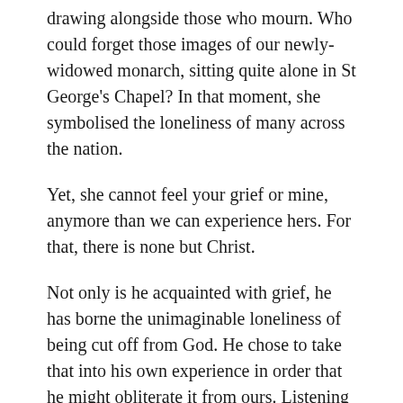drawing alongside those who mourn. Who could forget those images of our newly-widowed monarch, sitting quite alone in St George's Chapel? In that moment, she symbolised the loneliness of many across the nation.
Yet, she cannot feel your grief or mine, anymore than we can experience hers. For that, there is none but Christ.
Not only is he acquainted with grief, he has borne the unimaginable loneliness of being cut off from God. He chose to take that into his own experience in order that he might obliterate it from ours. Listening to the minister today, speaking of the peculiar loneliness of the Saviour on the cross, I was reminded of Derick Thomson's poem, in which he speaks of peeling back the Lewis sky to behold: